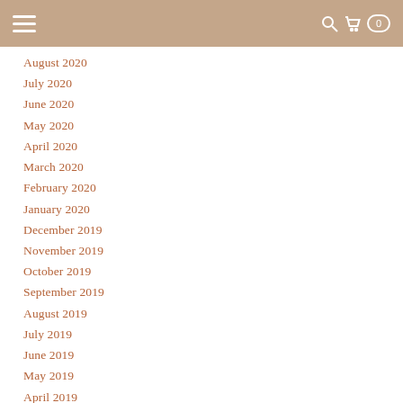≡  🔍 🛒 0
August 2020
July 2020
June 2020
May 2020
April 2020
March 2020
February 2020
January 2020
December 2019
November 2019
October 2019
September 2019
August 2019
July 2019
June 2019
May 2019
April 2019
March 2019
February 2019